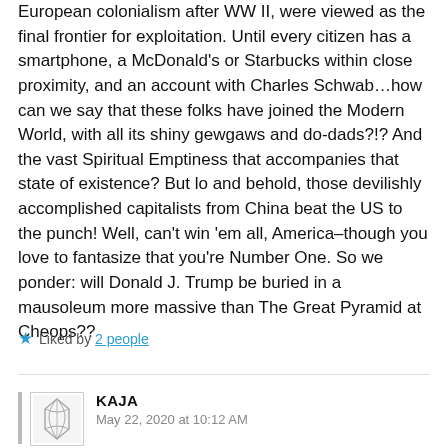European colonialism after WW II, were viewed as the final frontier for exploitation. Until every citizen has a smartphone, a McDonald's or Starbucks within close proximity, and an account with Charles Schwab…how can we say that these folks have joined the Modern World, with all its shiny gewgaws and do-dads?!? And the vast Spiritual Emptiness that accompanies that state of existence? But lo and behold, those devilishly accomplished capitalists from China beat the US to the punch! Well, can't win 'em all, America–though you love to fantasize that you're Number One. So we ponder: will Donald J. Trump be buried in a mausoleum more massive than The Great Pyramid at Cheops??
★ Liked by 2 people
KAJA
May 22, 2020 at 10:12 AM